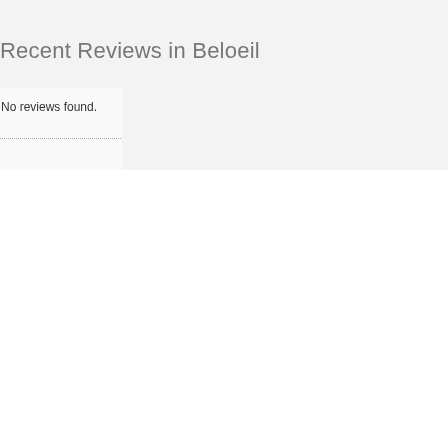Recent Reviews in Beloeil
No reviews found.